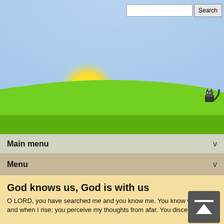[Figure (illustration): Outdoor scene with blue sky, green hills, yellow sun (blurred/glowing), and a small pixel-art cat in the upper right area. A search bar with text input and Search button overlays the top right.]
Main menu   v
Menu   v
God knows us, God is with us
O LORD, you have searched me and you know me. You know when I sit and when I rise; you perceive my thoughts from afar. You discern